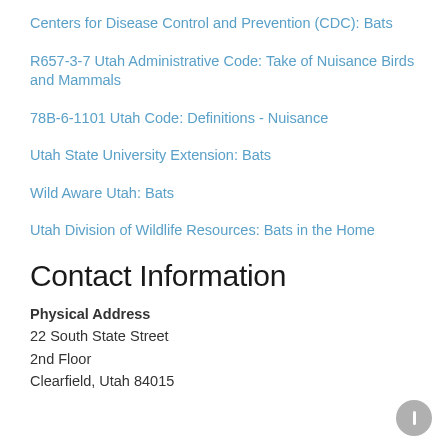Centers for Disease Control and Prevention (CDC): Bats
R657-3-7 Utah Administrative Code: Take of Nuisance Birds and Mammals
78B-6-1101 Utah Code: Definitions - Nuisance
Utah State University Extension: Bats
Wild Aware Utah: Bats
Utah Division of Wildlife Resources: Bats in the Home
Contact Information
Physical Address
22 South State Street
2nd Floor
Clearfield, Utah 84015